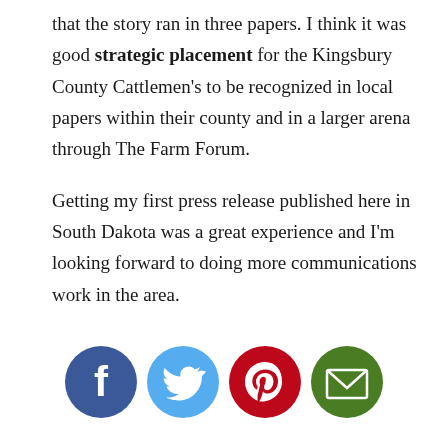that the story ran in three papers. I think it was good strategic placement for the Kingsbury County Cattlemen's to be recognized in local papers within their county and in a larger arena through The Farm Forum.
Getting my first press release published here in South Dakota was a great experience and I'm looking forward to doing more communications work in the area.
[Figure (infographic): Four social sharing icons in circles: Facebook (dark blue), Twitter (light blue), Pinterest (red/crimson), Email (green)]